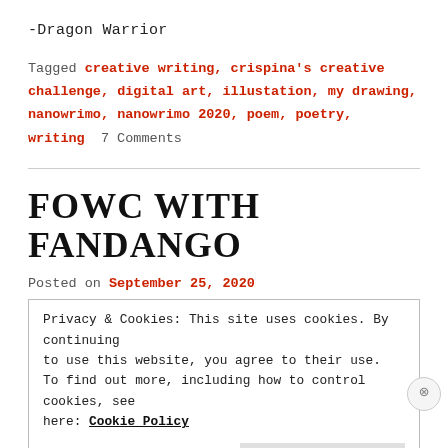-Dragon Warrior
Tagged creative writing, crispina's creative challenge, digital art, illustation, my drawing, nanowrimo, nanowrimo 2020, poem, poetry, writing  7 Comments
FOWC WITH FANDANGO
Posted on September 25, 2020
Privacy & Cookies: This site uses cookies. By continuing to use this website, you agree to their use. To find out more, including how to control cookies, see here: Cookie Policy
Close and accept